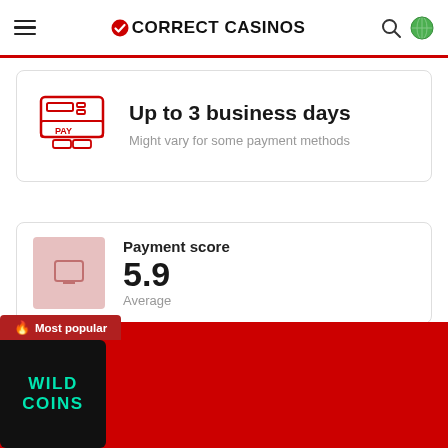CORRECT CASINOS
[Figure (illustration): PAY terminal / payment machine icon in red outline style]
Up to 3 business days
Might vary for some payment methods
[Figure (illustration): Pink/rose square placeholder icon with monitor symbol]
Payment score
5.9
Average
Deposit Methods
NetBanking, UPI
[Figure (illustration): Most popular banner with WildCoins casino logo (teal text on black card) on red background]